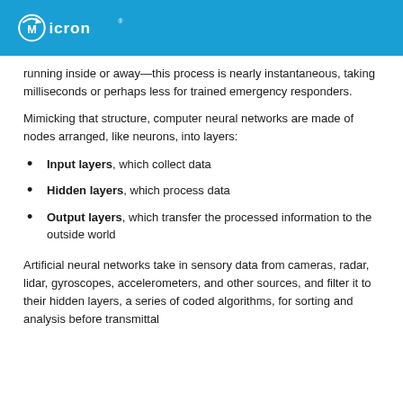Micron
running inside or away—this process is nearly instantaneous, taking milliseconds or perhaps less for trained emergency responders.
Mimicking that structure, computer neural networks are made of nodes arranged, like neurons, into layers:
Input layers, which collect data
Hidden layers, which process data
Output layers, which transfer the processed information to the outside world
Artificial neural networks take in sensory data from cameras, radar, lidar, gyroscopes, accelerometers, and other sources, and filter it to their hidden layers, a series of coded algorithms, for sorting and analysis before transmittal